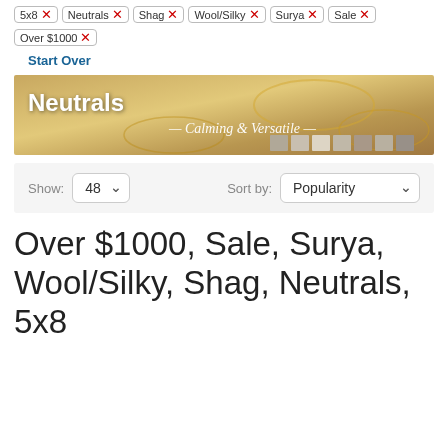5x8 × Neutrals × Shag × Wool/Silky × Surya × Sale × Over $1000 ×
Start Over
[Figure (photo): Neutrals banner image with rug pattern background, text 'Neutrals' on left and 'Calming & Versatile' in italic script on right, with color swatches along the bottom right]
Show: 48  Sort by: Popularity
Over $1000, Sale, Surya, Wool/Silky, Shag, Neutrals, 5x8